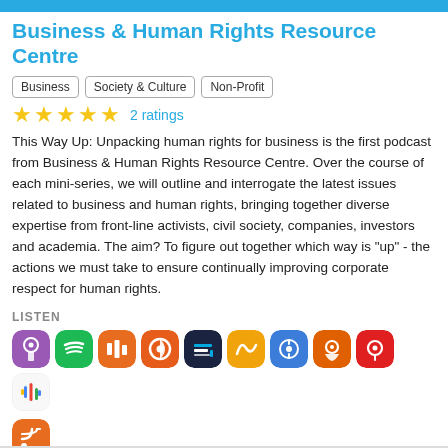Business & Human Rights Resource Centre
Business
Society & Culture
Non-Profit
★★★★★ 2 ratings
This Way Up: Unpacking human rights for business is the first podcast from Business & Human Rights Resource Centre. Over the course of each mini-series, we will outline and interrogate the latest issues related to business and human rights, bringing together diverse expertise from front-line activists, civil society, companies, investors and academia. The aim? To figure out together which way is "up" - the actions we must take to ensure continually improving corporate respect for human rights.
LISTEN
[Figure (infographic): Row of podcast app icons: Apple Podcasts (purple), Spotify (green), Castbox (dark orange), Pocket Casts (orange/red), TuneIn (dark navy), Audible (orange), Player FM (blue), Podcast Addict (dark orange), Podcast Republic (red), Google Podcasts (white/colorful), and RSS feed (orange)]